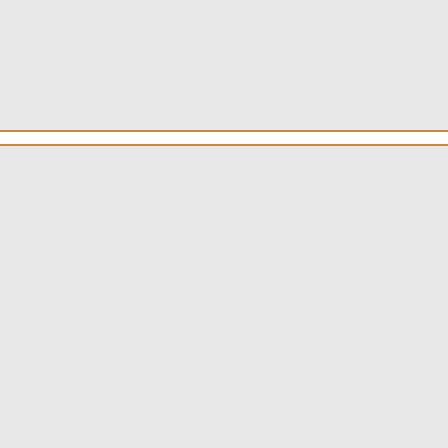Label: Arts & Crafts
Review date: Apr. 28, 2008
Read This Review
Artist: Crooked Fingers
Album: Dignity And Shame
Label: Merge
Review date: Mar. 17, 2005
Read This Review
Artist: Do Make Say Think
Album: Winter Hymn Country Hymn Secret Hymn
Label: Constellation
Review date: Sep. 29, 2003
Read This Review